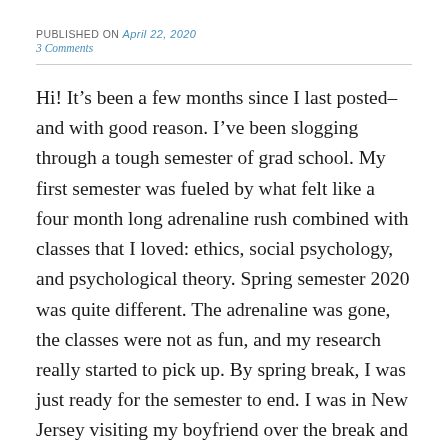PUBLISHED ON April 22, 2020
3 Comments
Hi! It’s been a few months since I last posted–and with good reason. I’ve been slogging through a tough semester of grad school. My first semester was fueled by what felt like a four month long adrenaline rush combined with classes that I loved: ethics, social psychology, and psychological theory. Spring semester 2020 was quite different. The adrenaline was gone,  the classes were not as fun, and my research really started to pick up. By spring break, I was just ready for the semester to end. I was in New Jersey visiting my boyfriend over the break and I was there when classes moved online through the end of March. As you already know, things quickly worsened and Spring semester